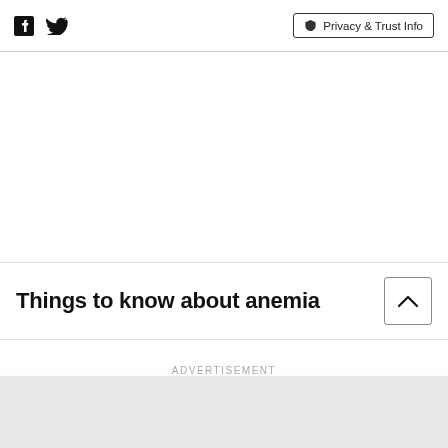Facebook Twitter | Privacy & Trust Info
Things to know about anemia
ADVERTISEMENT